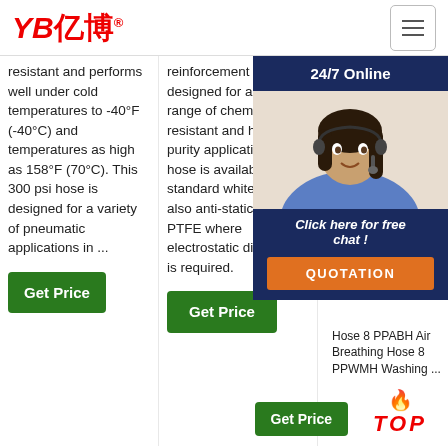[Figure (logo): YB亿博 company logo in red italic text with registered trademark symbol]
resistant and performs well under cold temperatures to -40°F (-40°C) and temperatures as high as 158°F (70°C). This 300 psi hose is designed for a variety of pneumatic applications in ...
reinforcement that is designed for a wide range of chemical resistant and high purity applications. The hose is available in standard white, and also anti-static black PTFE where electrostatic dissipation is required.
Washdown 6 PPWH Hot Wash Hose 8 Washdown Standard PPS Sull PPS Sull PPL Washdown PPA Hose Drinking Hose 8 PPABH Air Breathing Hose 8 PPWMH Washing ...
[Figure (photo): 24/7 Online customer service overlay with photo of woman with headset, Click here for free chat button, and QUOTATION button]
Hose 8 PPABH Air Breathing Hose 8 PPWMH Washing ...
[Figure (infographic): TOP badge with flame icon in orange and red italic text]